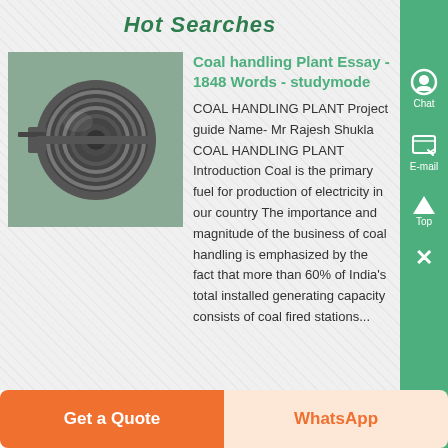Hot Searches
[Figure (photo): Industrial machinery - a coal handling plant component, showing metal rollers/pulleys with cables in a workshop setting]
Coal handling Plant Essay - 1848 Words - studymode
COAL HANDLING PLANT Project guide Name- Mr Rajesh Shukla COAL HANDLING PLANT Introduction Coal is the primary fuel for production of electricity in our country The importance and magnitude of the business of coal handling is emphasized by the fact that more than 60% of India's total installed generating capacity consists of coal fired stations...